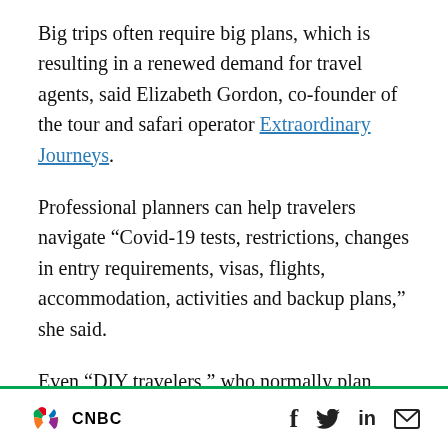Big trips often require big plans, which is resulting in a renewed demand for travel agents, said Elizabeth Gordon, co-founder of the tour and safari operator Extraordinary Journeys.
Professional planners can help travelers navigate “Covid-19 tests, restrictions, changes in entry requirements, visas, flights, accommodation, activities and backup plans,” she said.
Even “DIY travelers,” who normally plan their own trips, are nowadays seeking professional help to make sure their upcoming travels are
CNBC [social icons: Facebook, Twitter, LinkedIn, Email]